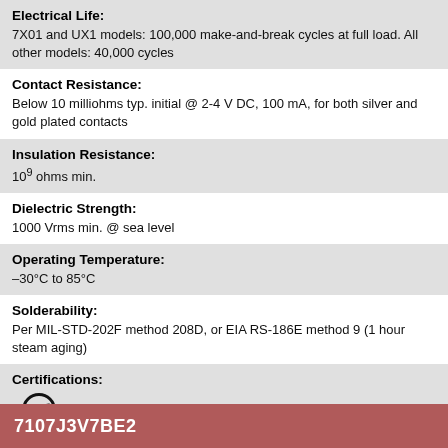Electrical Life: 7X01 and UX1 models: 100,000 make-and-break cycles at full load. All other models: 40,000 cycles
Contact Resistance: Below 10 milliohms typ. initial @ 2-4 V DC, 100 mA, for both silver and gold plated contacts
Insulation Resistance: 10⁹ ohms min.
Dielectric Strength: 1000 Vrms min. @ sea level
Operating Temperature: –30°C to 85°C
Solderability: Per MIL-STD-202F method 208D, or EIA RS-186E method 9 (1 hour steam aging)
Certifications: cURus
7107J3V7BE2